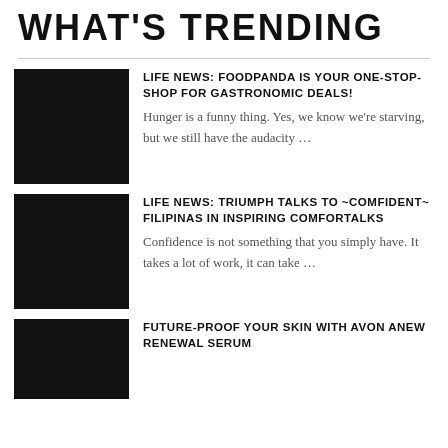WHAT'S TRENDING
[Figure (photo): Black square placeholder image for article 1]
LIFE NEWS: FOODPANDA IS YOUR ONE-STOP-SHOP FOR GASTRONOMIC DEALS!
Hunger is a funny thing. Yes, we know we're starving, but we still have the audacity …
[Figure (photo): Black square placeholder image for article 2]
LIFE NEWS: TRIUMPH TALKS TO ~COMFIDENT~ FILIPINAS IN INSPIRING COMFORTALKS
Confidence is not something that you simply have. It takes a lot of work, it can take …
[Figure (photo): Black square placeholder image for article 3]
FUTURE-PROOF YOUR SKIN WITH AVON ANEW RENEWAL SERUM